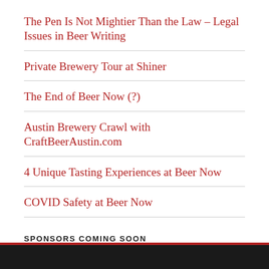The Pen Is Not Mightier Than the Law – Legal Issues in Beer Writing
Private Brewery Tour at Shiner
The End of Beer Now (?)
Austin Brewery Crawl with CraftBeerAustin.com
4 Unique Tasting Experiences at Beer Now
COVID Safety at Beer Now
SPONSORS COMING SOON